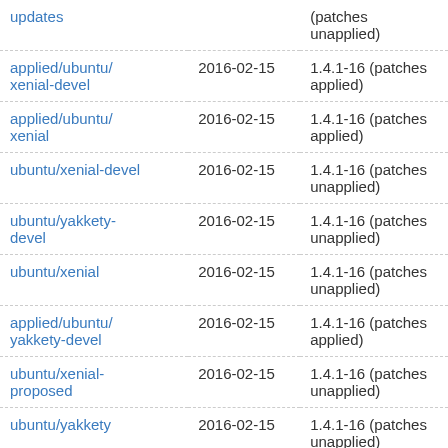| Branch | Date | Version |
| --- | --- | --- |
| updates |  | (patches unapplied) |
| applied/ubuntu/xenial-devel | 2016-02-15 | 1.4.1-16 (patches applied) |
| applied/ubuntu/xenial | 2016-02-15 | 1.4.1-16 (patches applied) |
| ubuntu/xenial-devel | 2016-02-15 | 1.4.1-16 (patches unapplied) |
| ubuntu/yakkety-devel | 2016-02-15 | 1.4.1-16 (patches unapplied) |
| ubuntu/xenial | 2016-02-15 | 1.4.1-16 (patches unapplied) |
| applied/ubuntu/yakkety-devel | 2016-02-15 | 1.4.1-16 (patches applied) |
| ubuntu/xenial-proposed | 2016-02-15 | 1.4.1-16 (patches unapplied) |
| ubuntu/yakkety | 2016-02-15 | 1.4.1-16 (patches unapplied) |
| applied/ubuntu/yakkety | 2016-02-15 | 1.4.1-16 (patches applied) |
| applied/ubuntu/xenial-proposed | 2016-02-15 | 1.4.1-16 (patches applied) |